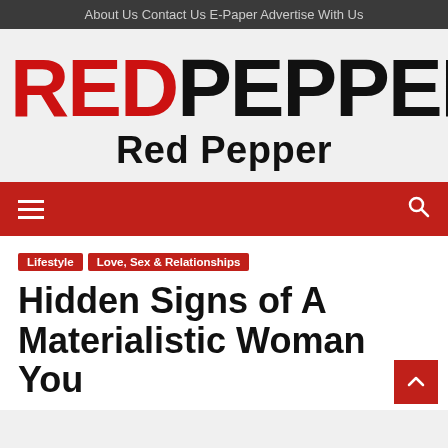About Us   Contact Us   E-Paper   Advertise With Us
RED PEPPER
Red Pepper
[Figure (logo): Red Pepper newspaper logo: 'RED' in red bold letters and 'PEPPER' in black bold letters, with 'Red Pepper' subtitle below in bold]
Lifestyle   Love, Sex & Relationships
Hidden Signs of A Materialistic Woman You